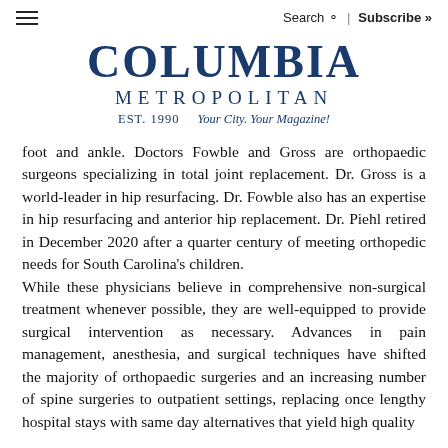Search | Subscribe »
COLUMBIA METROPOLITAN EST. 1990 Your City. Your Magazine!
foot and ankle. Doctors Fowble and Gross are orthopaedic surgeons specializing in total joint replacement. Dr. Gross is a world-leader in hip resurfacing. Dr. Fowble also has an expertise in hip resurfacing and anterior hip replacement. Dr. Piehl retired in December 2020 after a quarter century of meeting orthopedic needs for South Carolina's children. While these physicians believe in comprehensive non-surgical treatment whenever possible, they are well-equipped to provide surgical intervention as necessary. Advances in pain management, anesthesia, and surgical techniques have shifted the majority of orthopaedic surgeries and an increasing number of spine surgeries to outpatient settings, replacing once lengthy hospital stays with same day alternatives that yield high quality